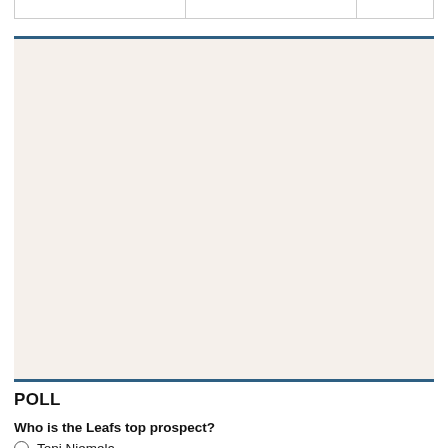POLL
Who is the Leafs top prospect?
Topi Niemela